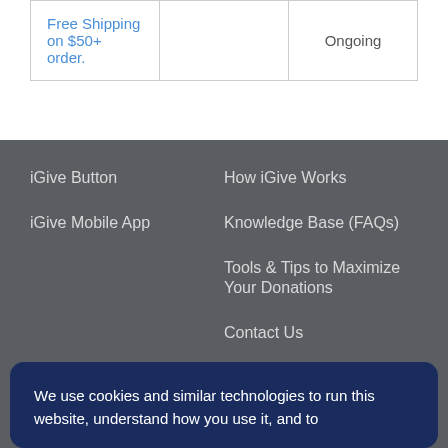|  |  |  |
| --- | --- | --- |
| Free Shipping on $50+ order. |  | Ongoing |
iGive Button
iGive Mobile App
How iGive Works
Knowledge Base (FAQs)
Tools & Tips to Maximize Your Donations
Contact Us
All Causes
Terms of Service
We use cookies and similar technologies to run this website, understand how you use it, and to